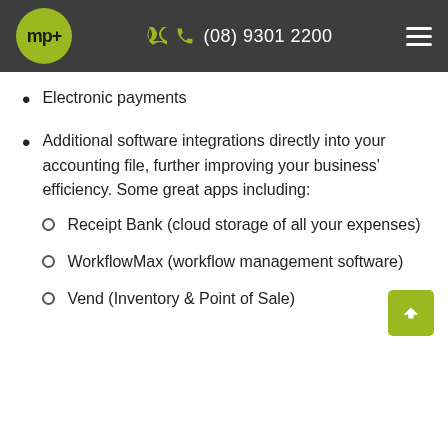mp+ | (08) 9301 2200
Electronic payments
Additional software integrations directly into your accounting file, further improving your business' efficiency. Some great apps including:
Receipt Bank (cloud storage of all your expenses)
WorkflowMax (workflow management software)
Vend (Inventory & Point of Sale)